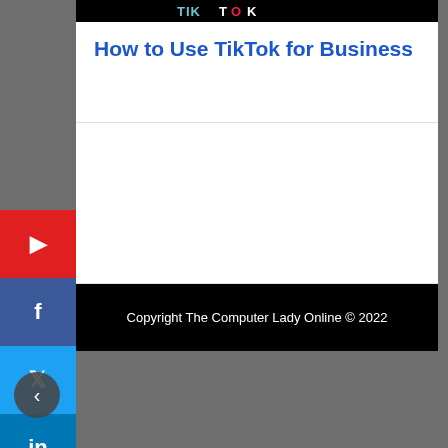[Figure (logo): TikTok logo on black background banner]
How to Use TikTok for Business
[Figure (other): Blank white content area (article body placeholder)]
Copyright The Computer Lady Online © 2022